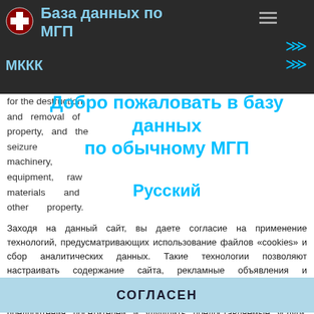База данных по МГП — МККК
for the destruction and removal of property, and the seizure of machinery, equipment, raw materials and other property. The Tribunal
Добро пожаловать в базу данных по обычному МГП
Русский
Заходя на данный сайт, вы даете согласие на применение технологий, предусматривающих использование файлов «cookies» и сбор аналитических данных. Такие технологии позволяют настраивать содержание сайта, рекламные объявления и предоставлять функции социальных сетей. Они будут использоваться для анализа посещений сайта, что позволит нам понять предпочтения посетителей и улучшить предоставляемые услуги. Узнать больше
СОГЛАСЕН